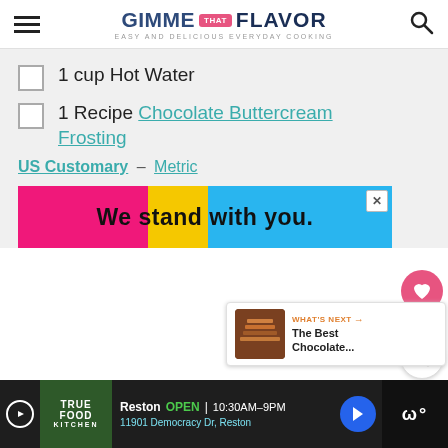GIMME THAT FLAVOR — Easy and Delicious Everyday Cooking
1 cup Hot Water
1 Recipe Chocolate Buttercream Frosting
US Customary – Metric
[Figure (other): Advertisement banner: colorful pink, yellow, blue background with text 'We stand with you.']
[Figure (other): What's Next sidebar card showing 'The Best Chocolate...' with thumbnail image]
[Figure (other): Bottom advertisement bar for True Food Kitchen, Reston, OPEN 10:30AM-9PM, 11901 Democracy Dr, Reston]